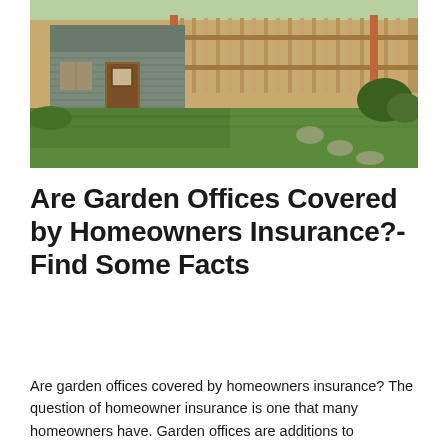[Figure (photo): A backyard photo showing a small garden office or shed structure with gray siding and a door, surrounded by green lawn, garden beds with brick edging, stepping stones, shrubs, and a wooden fence in the background.]
Are Garden Offices Covered by Homeowners Insurance?- Find Some Facts
Are garden offices covered by homeowners insurance? The question of homeowner insurance is one that many homeowners have. Garden offices are additions to